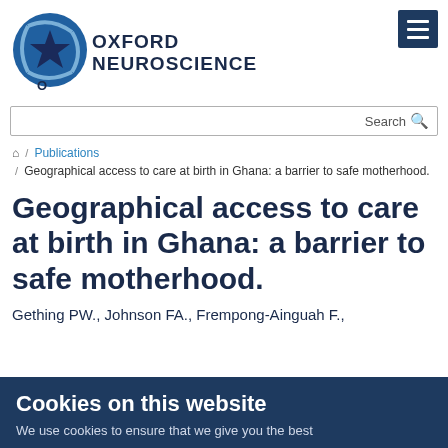[Figure (logo): Oxford Neuroscience logo with circular brain/neuron graphic and text 'OXFORD NEUROSCIENCE']
Search
🏠 / Publications / Geographical access to care at birth in Ghana: a barrier to safe motherhood.
Geographical access to care at birth in Ghana: a barrier to safe motherhood.
Gething PW., Johnson FA., Frempong-Ainguah F.,
Cookies on this website
We use cookies to ensure that we give you the best